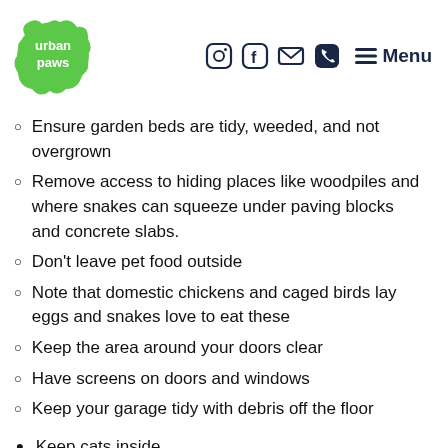urban paws | Menu
Ensure garden beds are tidy, weeded, and not overgrown
Remove access to hiding places like woodpiles and where snakes can squeeze under paving blocks and concrete slabs.
Don't leave pet food outside
Note that domestic chickens and caged birds lay eggs and snakes love to eat these
Keep the area around your doors clear
Have screens on doors and windows
Keep your garage tidy with debris off the floor
Keep cats inside.
Have a dog run for when you are not home – and use a small gauge snake-proof mesh at its